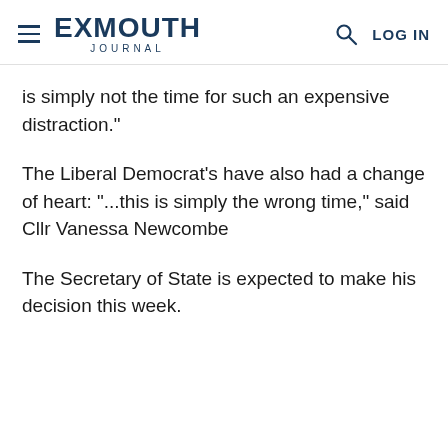EXMOUTH JOURNAL
is simply not the time for such an expensive distraction."
The Liberal Democrat's have also had a change of heart: "...this is simply the wrong time," said Cllr Vanessa Newcombe
The Secretary of State is expected to make his decision this week.